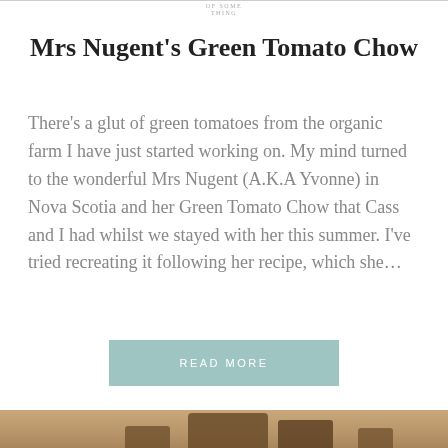Mrs Nugent's Green Tomato Chow
There's a glut of green tomatoes from the organic farm I have just started working on. My mind turned to the wonderful Mrs Nugent (A.K.A Yvonne) in Nova Scotia and her Green Tomato Chow that Cass and I had whilst we stayed with her this summer. I've tried recreating it following her recipe, which she…
READ MORE
[Figure (photo): Photo of food items, appears to be baked or cooked food pieces on a light background]